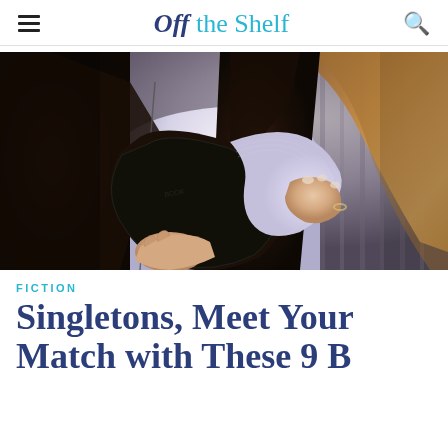Off the Shelf
[Figure (photo): Woman in a black leather jacket holding and flipping through an open book with white/purple pages, photographed from chest down against a blurred background]
FICTION
Singletons, Meet Your Match with These 9 Books